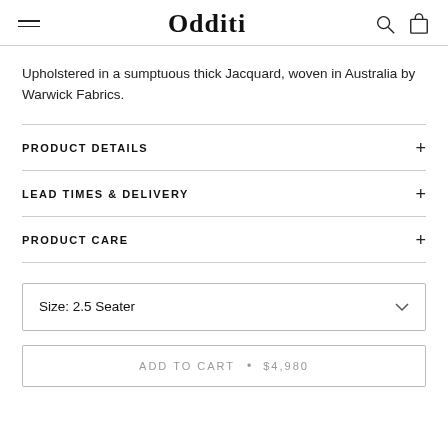Odditi
Upholstered in a sumptuous thick Jacquard, woven in Australia by Warwick Fabrics.
PRODUCT DETAILS
LEAD TIMES & DELIVERY
PRODUCT CARE
Size: 2.5 Seater
ADD TO CART • $4,980